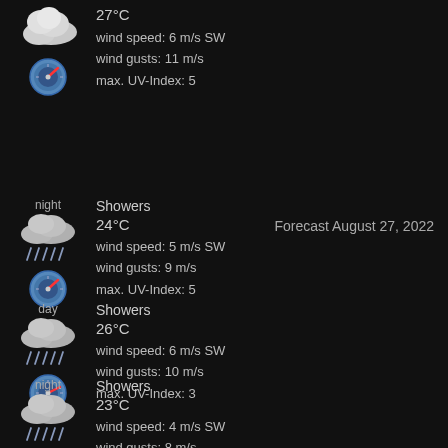[Figure (illustration): Cloud/overcast weather icon, top section]
27°C
wind speed: 6 m/s SW
wind gusts: 11 m/s
[Figure (illustration): UV Index gauge icon, top section]
max. UV-Index: 5
night
Showers
Forecast August 27, 2022
[Figure (illustration): Rain shower weather icon, night section 1]
24°C
wind speed: 5 m/s SW
wind gusts: 9 m/s
[Figure (illustration): UV Index gauge icon, night section 1]
max. UV-Index: 5
day
Showers
[Figure (illustration): Rain shower weather icon, day section]
26°C
wind speed: 6 m/s SW
wind gusts: 10 m/s
[Figure (illustration): UV Index gauge icon, day section]
max. UV-Index: 3
night
Showers
[Figure (illustration): Rain shower weather icon, night section 2]
23°C
wind speed: 4 m/s SW
wind gusts: 8 m/s
[Figure (illustration): UV Index gauge icon, night section 2]
max. UV-Index: 3